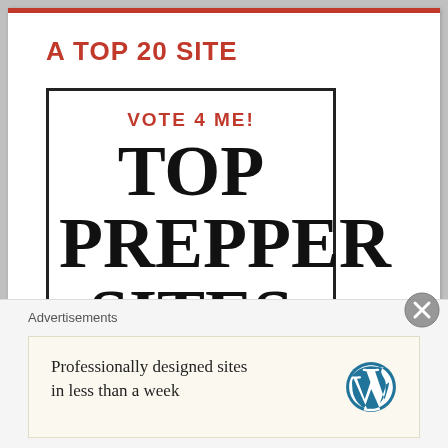A TOP 20 SITE
[Figure (illustration): Vote box with 'VOTE 4 ME! TOP PREPPER SITES - CLICKING ON THIS LINK RECORDS YOUR VOTE' in black and red text with border]
SURVIVAL GARDEN SEEDS
Advertisements
Professionally designed sites in less than a week